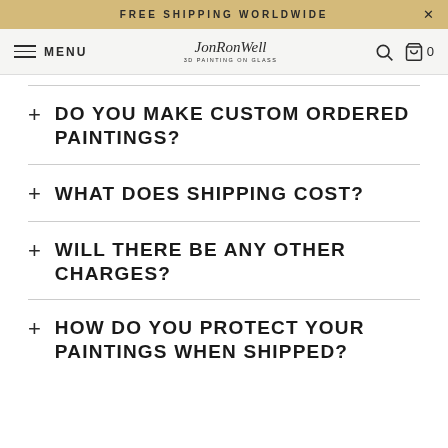FREE SHIPPING WORLDWIDE
MENU  JonRonWell 3D PAINTING ON GLASS  0
+ DO YOU MAKE CUSTOM ORDERED PAINTINGS?
+ WHAT DOES SHIPPING COST?
+ WILL THERE BE ANY OTHER CHARGES?
+ HOW DO YOU PROTECT YOUR PAINTINGS WHEN SHIPPED?